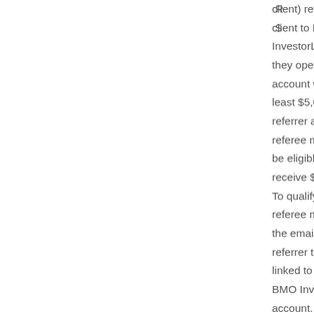client) refer a new client to BMO InvestorLine and they open an account with at least $5,000 the referrer and the referee may both be eligible to receive $50 cash. To qualify the referee must use the email of the referrer that is linked to their BMO InvestorLine account. See terms and
R $